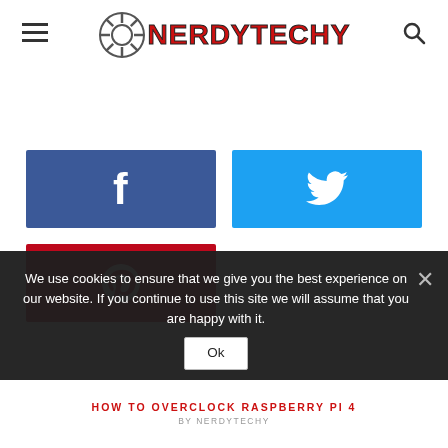[Figure (logo): NerdyTechy website logo with gear icon and red bold text, plus hamburger menu icon on left and search icon on right]
[Figure (infographic): Three social share buttons: Facebook (dark blue with f icon), Twitter (light blue with bird icon), Pinterest (red with P icon)]
We use cookies to ensure that we give you the best experience on our website. If you continue to use this site we will assume that you are happy with it.
HOW TO OVERCLOCK RASPBERRY PI 4
BY NERDYTECHY